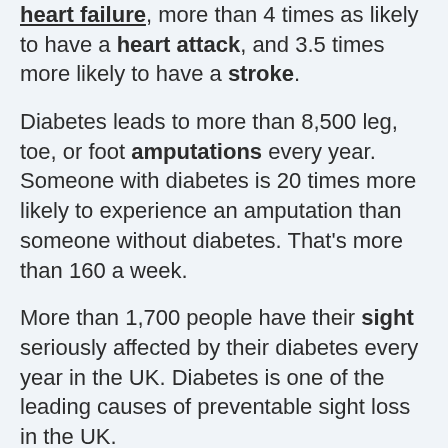heart failure, more than 4 times as likely to have a heart attack, and 3.5 times more likely to have a stroke.
Diabetes leads to more than 8,500 leg, toe, or foot amputations every year. Someone with diabetes is 20 times more likely to experience an amputation than someone without diabetes. That's more than 160 a week.
More than 1,700 people have their sight seriously affected by their diabetes every year in the UK. Diabetes is one of the leading causes of preventable sight loss in the UK.
At least 10,350 people in the UK have